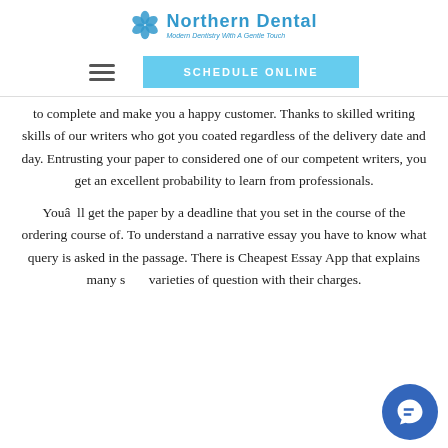Northern Dental — Modern Dentistry With A Gentle Touch
[Figure (logo): Northern Dental logo with blue cross/flower icon and tagline 'Modern Dentistry With A Gentle Touch']
[Figure (screenshot): Navigation bar with hamburger menu icon and 'SCHEDULE ONLINE' button in light blue]
to complete and make you a happy customer. Thanks to skilled writing skills of our writers who got you coated regardless of the delivery date and day. Entrusting your paper to considered one of our competent writers, you get an excellent probability to learn from professionals.
Youâ€™ll get the paper by a deadline that you set in the course of the ordering course of. To understand a narrative essay you have to know what query is asked in the passage. There is Cheapest Essay App that explains many sorts varieties of question with their charges.